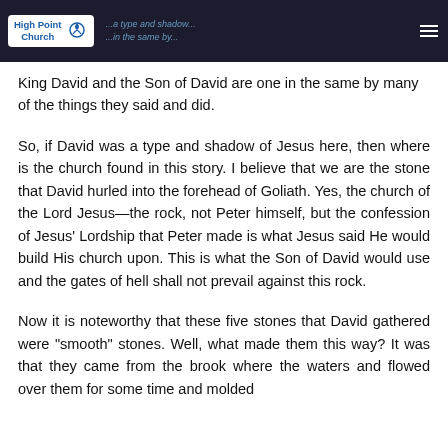High Point Church — [header navigation text]
King David and the Son of David are one in the same by many of the things they said and did.
So, if David was a type and shadow of Jesus here, then where is the church found in this story. I believe that we are the stone that David hurled into the forehead of Goliath. Yes, the church of the Lord Jesus—the rock, not Peter himself, but the confession of Jesus' Lordship that Peter made is what Jesus said He would build His church upon. This is what the Son of David would use and the gates of hell shall not prevail against this rock.
Now it is noteworthy that these five stones that David gathered were "smooth" stones. Well, what made them this way? It was that they came from the brook where the waters and flowed over them for some time and molded